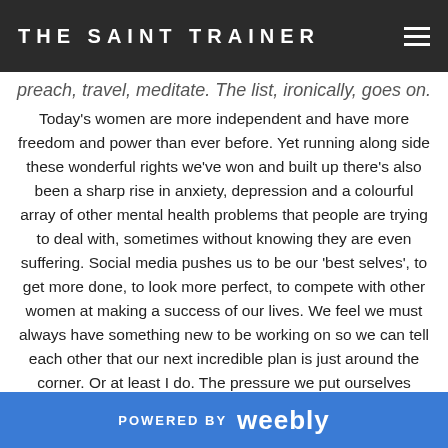THE SAINT TRAINER
preach, travel, meditate. The list, ironically, goes on. Today's women are more independent and have more freedom and power than ever before. Yet running along side these wonderful rights we've won and built up there's also been a sharp rise in anxiety, depression and a colourful array of other mental health problems that people are trying to deal with, sometimes without knowing they are even suffering. Social media pushes us to be our 'best selves', to get more done, to look more perfect, to compete with other women at making a success of our lives. We feel we must always have something new to be working on so we can tell each other that our next incredible plan is just around the corner. Or at least I do. The pressure we put ourselves under is immense. Add to that the fact that the wonderful men in our lives continue
POWERED BY weebly